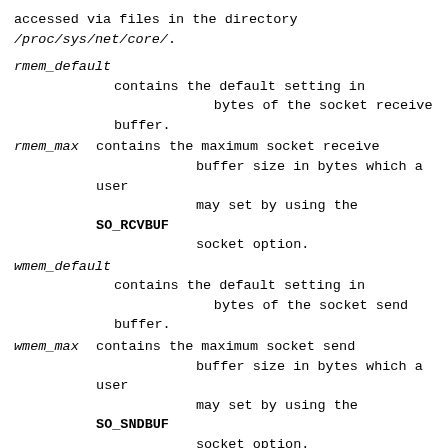accessed via files in the directory
/proc/sys/net/core/.
rmem_default
        contains the default setting in
        bytes of the socket receive buffer.
rmem_max   contains the maximum socket receive
        buffer size in bytes which a user
        may set by using the SO_RCVBUF
        socket option.
wmem_default
        contains the default setting in
        bytes of the socket send buffer.
wmem_max   contains the maximum socket send
        buffer size in bytes which a user
        may set by using the SO_SNDBUF
        socket option.
message_cost and message_burst
        configure the token bucket filter
        used to load limit warning messages
        caused by external network events.
netdev_max_backlog
        Maximum number of packets in the